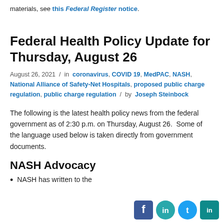materials, see this Federal Register notice.
Federal Health Policy Update for Thursday, August 26
August 26, 2021 / in coronavirus, COVID 19, MedPAC, NASH, National Alliance of Safety-Net Hospitals, proposed public charge regulation, public charge regulation / by Joseph Steinbock
The following is the latest health policy news from the federal government as of 2:30 p.m. on Thursday, August 26.  Some of the language used below is taken directly from government documents.
NASH Advocacy
NASH has written to the